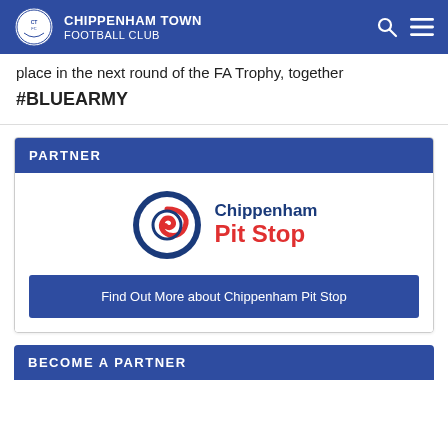CHIPPENHAM TOWN FOOTBALL CLUB
place in the next round of the FA Trophy, together
#BLUEARMY
PARTNER
[Figure (logo): Chippenham Pit Stop logo — circular swirl icon in blue/red and text 'Chippenham Pit Stop' in blue and red]
Find Out More about Chippenham Pit Stop
BECOME A PARTNER